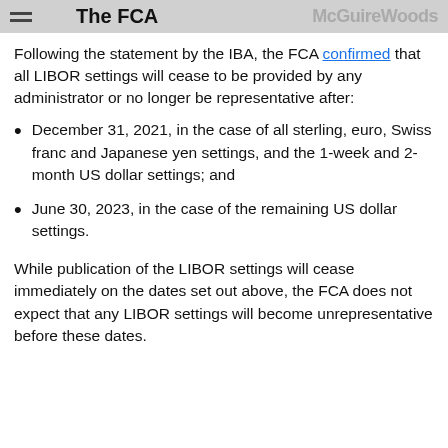The FCA
Following the statement by the IBA, the FCA confirmed that all LIBOR settings will cease to be provided by any administrator or no longer be representative after:
December 31, 2021, in the case of all sterling, euro, Swiss franc and Japanese yen settings, and the 1-week and 2-month US dollar settings; and
June 30, 2023, in the case of the remaining US dollar settings.
While publication of the LIBOR settings will cease immediately on the dates set out above, the FCA does not expect that any LIBOR settings will become unrepresentative before these dates.